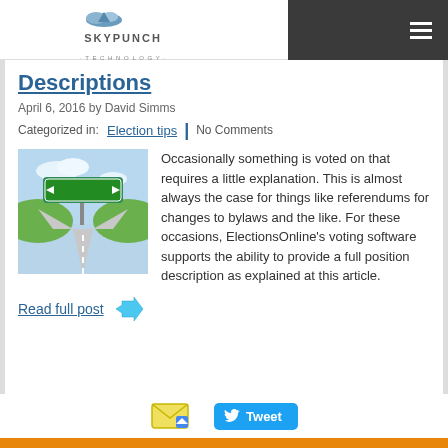SKYPUNCH TECHNOLOGY
Descriptions
April 6, 2016 by David Simms
Categorized in: Election tips | No Comments
[Figure (photo): A road forking into two directions with a green directional sign pointing both left and right, set against a grassy landscape and sky background.]
Occasionally something is voted on that requires a little explanation. This is almost always the case for things like referendums for changes to bylaws and the like. For these occasions, ElectionsOnline's voting software supports the ability to provide a full position description as explained at this article.
Read full post
Tweet